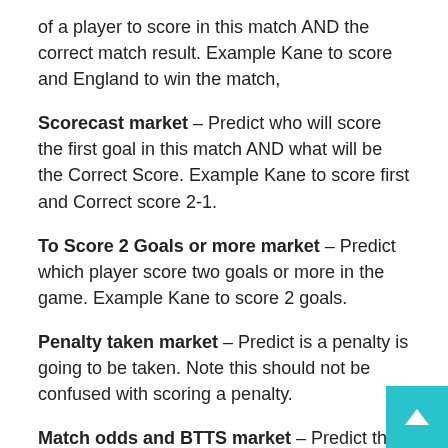of a player to score in this match AND the correct match result. Example Kane to score and England to win the match,
Scorecast market – Predict who will score the first goal in this match AND what will be the Correct Score. Example Kane to score first and Correct score 2-1.
To Score 2 Goals or more market – Predict which player score two goals or more in the game. Example Kane to score 2 goals.
Penalty taken market – Predict is a penalty is going to be taken. Note this should not be confused with scoring a penalty.
Match odds and BTTS market – Predict the winning team and if both teams score. Example England to win and Both teams won't score.